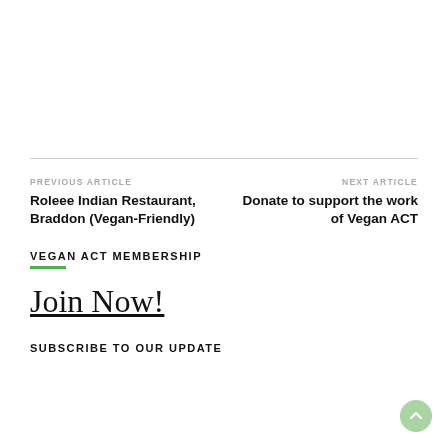PREVIOUS ARTICLE
Roleee Indian Restaurant, Braddon (Vegan-Friendly)
NEXT ARTICLE
Donate to support the work of Vegan ACT
VEGAN ACT MEMBERSHIP
Join Now!
SUBSCRIBE TO OUR UPDATE